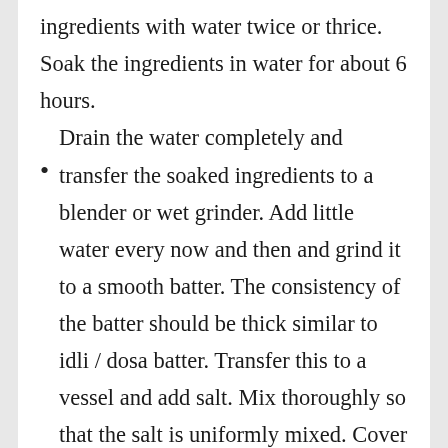ingredients with water twice or thrice. Soak the ingredients in water for about 6 hours.
Drain the water completely and transfer the soaked ingredients to a blender or wet grinder. Add little water every now and then and grind it to a smooth batter. The consistency of the batter should be thick similar to idli / dosa batter. Transfer this to a vessel and add salt. Mix thoroughly so that the salt is uniformly mixed. Cover the batter with a lid and allow it to ferment for about 8 to 10 hours. The time for fermentation may vary depending on the place you live. Allow enough time for the